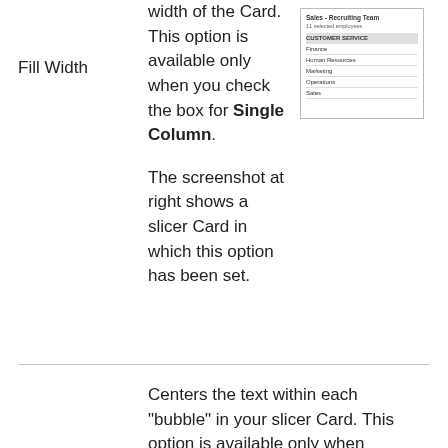width of the Card. This option is available only when you check the box for Single Column.
[Figure (screenshot): Screenshot of a slicer Card showing a list of department items including Customer Service, Finance, Human Resources, Marketing, Operations, Sales in a single column layout.]
The screenshot at right shows a slicer Card in which this option has been set.
Centers the text within each "bubble" in your slicer Card. This option is available only when